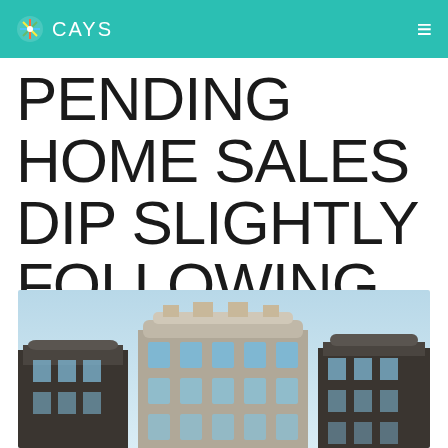CAYS
PENDING HOME SALES DIP SLIGHTLY FOLLOWING STRONG OCTOBER
[Figure (photo): Exterior photo of Victorian-style row houses or building facades with ornate architectural details, light blue sky background]